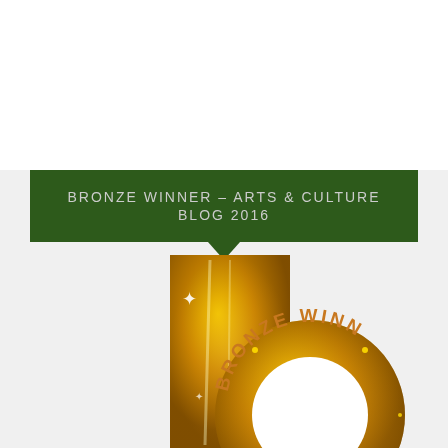BRONZE WINNER – ARTS & CULTURE BLOG 2016
[Figure (illustration): Bronze Winner badge/logo with gold sequin letter 'b' and arc text reading 'BRONZE WINN...']
[Figure (logo): Infolinks logo in blue rounded rectangle]
[Figure (screenshot): Ad: Frontgate SALES - 20% off sitewide plus free shipping from August 19-22 - frontgate.com, with outdoor furniture image and blue navigation arrow button]